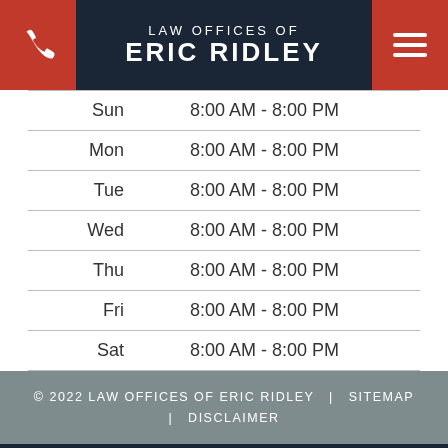LAW OFFICES OF ERIC RIDLEY
| Day | Hours |
| --- | --- |
| Sun | 8:00 AM - 8:00 PM |
| Mon | 8:00 AM - 8:00 PM |
| Tue | 8:00 AM - 8:00 PM |
| Wed | 8:00 AM - 8:00 PM |
| Thu | 8:00 AM - 8:00 PM |
| Fri | 8:00 AM - 8:00 PM |
| Sat | 8:00 AM - 8:00 PM |
© 2022 LAW OFFICES OF ERIC RIDLEY | SITEMAP | DISCLAIMER
IMPORTANT LAWYERLY DISCLAIMER: I am a Ventura and Los Angeles estate planning, elder law, and bankruptcy attorney, but I am not YOUR attorney until